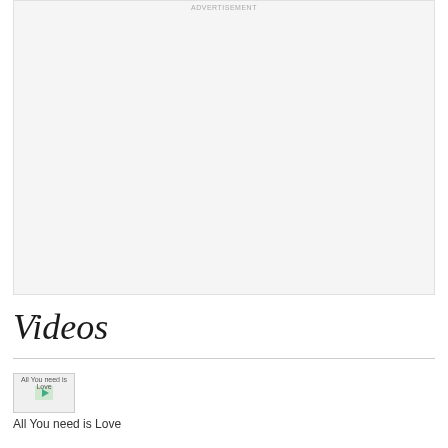[Figure (other): Advertisement placeholder box with light gray background]
Videos
[Figure (other): Thumbnail image placeholder for 'All You need is Love' video]
All You need is Love